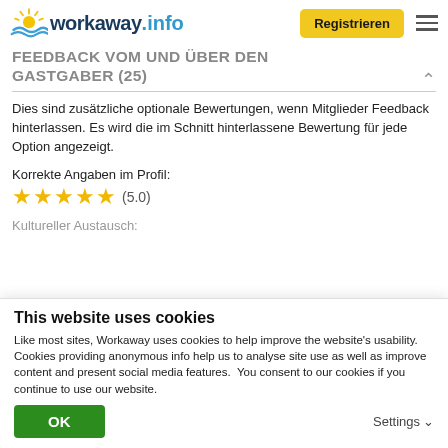workaway.info — Registrieren
FEEDBACK VOM UND ÜBER DEN GASTGABER (25)
Dies sind zusätzliche optionale Bewertungen, wenn Mitglieder Feedback hinterlassen. Es wird die im Schnitt hinterlassene Bewertung für jede Option angezeigt.
Korrekte Angaben im Profil:
★★★★★ (5.0)
Kultureller Austausch:
This website uses cookies
Like most sites, Workaway uses cookies to help improve the website's usability. Cookies providing anonymous info help us to analyse site use as well as improve content and present social media features.  You consent to our cookies if you continue to use our website.
OK
Settings